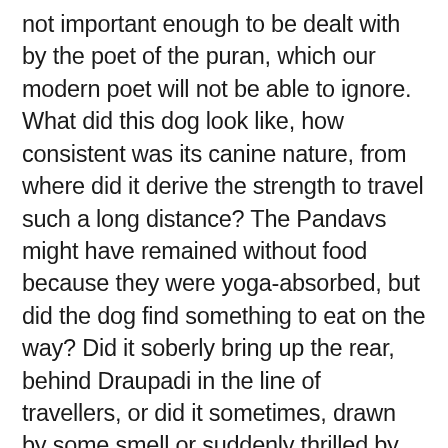not important enough to be dealt with by the poet of the puran, which our modern poet will not be able to ignore. What did this dog look like, how consistent was its canine nature, from where did it derive the strength to travel such a long distance? The Pandavs might have remained without food because they were yoga-absorbed, but did the dog find something to eat on the way? Did it soberly bring up the rear, behind Draupadi in the line of travellers, or did it sometimes, drawn by some smell or suddenly thrilled by the breeze, dash ahead or frisk around and bark joyously for no reason, or look at its indifferent masters chosen by itself and wait for some show of affection? Alternately, did it not sometimes fall behind to urinate against a tree, or chase and kill a hare or kitten for meat, or be lured towards a lusty bitch and lose track of its fellow-travellers? Was it not startled when five out of those six fall like the dead? Did no soft wail or sharp howl issue from its mouth when it